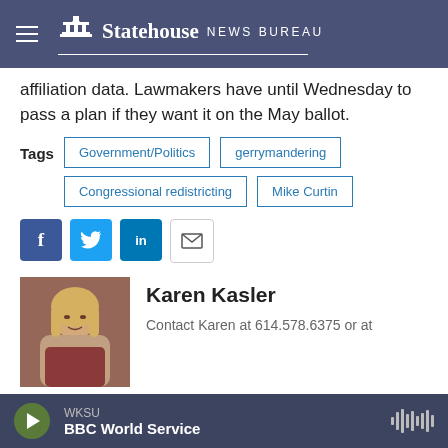Statehouse NEWS BUREAU
affiliation data. Lawmakers have until Wednesday to pass a plan if they want it on the May ballot.
Tags: Government/Politics | gerrymandering | Congressional redistricting | Mike Curtin
[Figure (infographic): Social share buttons: Facebook, Twitter, LinkedIn, Email]
[Figure (photo): Headshot photo of Karen Kasler, woman with blonde hair]
Karen Kasler
Contact Karen at 614.578.6375 or at
WKSU BBC World Service